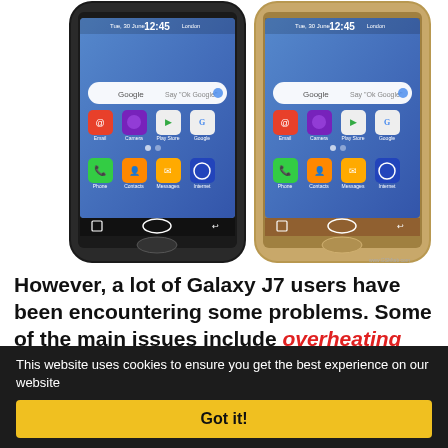[Figure (photo): Two Samsung Galaxy J7 smartphones side by side — one black and one gold — both showing the Android home screen with Google search bar, app icons (Email, Camera, Play Store, Google, Phone, Contacts, Messages, Internet, Apps), time 12:45, date Tue 30 June, location London.]
However, a lot of Galaxy J7 users have been encountering some problems. Some of the main issues include overheating and battery drain. There have also been other problems including all the common Android issues like lag, slow performance, Wi-Fi connectivity...
This website uses cookies to ensure you get the best experience on our website
Got it!